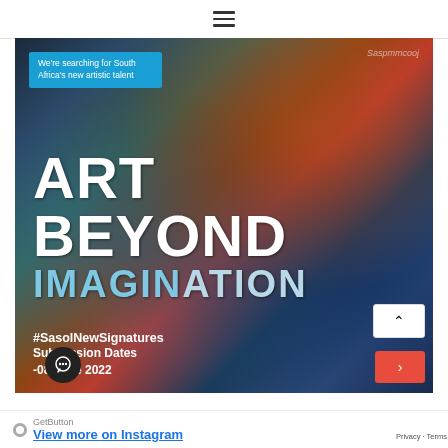≡
[Figure (photo): Hands touching a colorful textured painted surface with blues, reds, and golds. Overlaid with text: 'ART BEYOND IMAGINATION', '#SasolNewSignatures', 'Submission Dates -08 June 2022'. A tag reads 'We're searching for South Africa's new artistic talent'.]
View more on Instagram
GetButton
Privacy · Terms